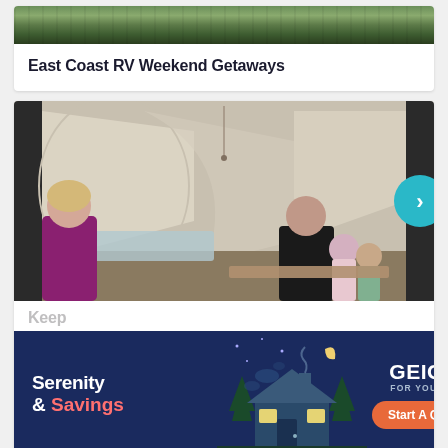[Figure (photo): Top strip image showing scenic landscape with trees and foliage]
East Coast RV Weekend Getaways
[Figure (photo): Interior of a pop-up camper/RV with white canvas walls, a family including a woman in purple, a man, and two children sitting at a table]
Keep
[Figure (infographic): GEICO advertisement banner with dark blue background. Text reads: Serenity & Savings. GEICO. FOR YOUR RV. Start A Quote button. Illustration of a camping cabin at night.]